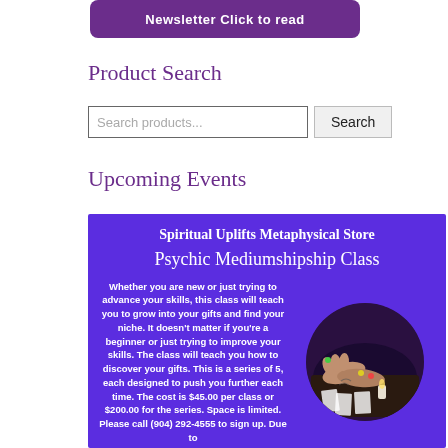[Figure (other): Purple rounded rectangle banner with white bold text partially cut off at top reading 'Newsletter Click to read']
Product Search
[Figure (other): Search bar with placeholder text 'Search products...' and a 'Search' button]
Upcoming Events
[Figure (infographic): Purple background event flyer for Spiritual Uplifts Metaphysical Store Psychic Mediumshipship Class. Text: Whether you are new or just trying to advance your skills, this class will teach you to grow into your gifts and find your niche. It doesn't matter if you're a beginner or just trying to improve your skills. The class will teach you how to discover your gifts. This is a series of 5, each designed to push you further each time. The cost is $45.00 per class or $200.00 for the series. Space is limited. Please call (904) 292-4555 to sign up. Due to... A circular photo of hands on a table with tarot cards and a candle.]